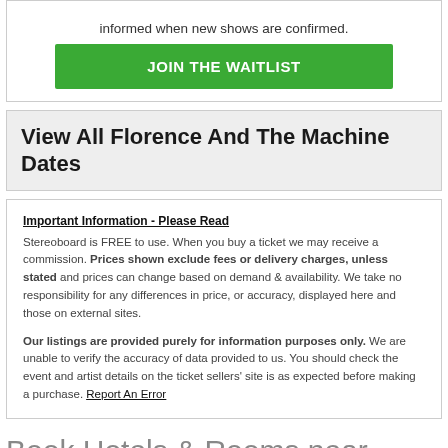informed when new shows are confirmed.
JOIN THE WAITLIST
View All Florence And The Machine Dates
Important Information - Please Read
Stereoboard is FREE to use. When you buy a ticket we may receive a commission. Prices shown exclude fees or delivery charges, unless stated and prices can change based on demand & availability. We take no responsibility for any differences in price, or accuracy, displayed here and those on external sites.
Our listings are provided purely for information purposes only. We are unable to verify the accuracy of data provided to us. You should check the event and artist details on the ticket sellers' site is as expected before making a purchase. Report An Error
Book Hotels & Rooms near London O2 Arena